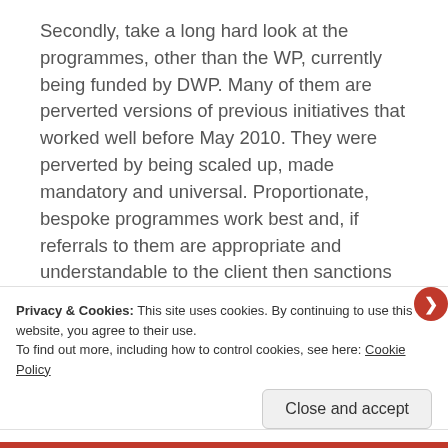Secondly, take a long hard look at the programmes, other than the WP, currently being funded by DWP. Many of them are perverted versions of previous initiatives that worked well before May 2010. They were perverted by being scaled up, made mandatory and universal. Proportionate, bespoke programmes work best and, if referrals to them are appropriate and understandable to the client then sanctions should become very much the exception not the rule.
Privacy & Cookies: This site uses cookies. By continuing to use this website, you agree to their use. To find out more, including how to control cookies, see here: Cookie Policy
Close and accept